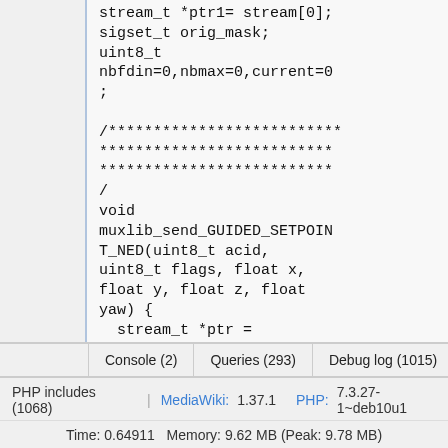sigset_t orig_mask;
uint8_t
nbfdin=0,nbmax=0,current=0
;

/**************************
**************************
**************************
/
void
muxlib_send_GUIDED_SETPOINT_NED(uint8_t acid,
uint8_t flags, float x,
float y, float z, float
yaw) {
  stream_t *ptr =
&streams[0];
  uint8_t _acid=acid;
Console (2)   Queries (293)   Debug log (1015)   Request   PHP includes (1068)   MediaWiki: 1.37.1   PHP: 7.3.27-1~deb10u1   Time: 0.64911   Memory: 9.62 MB (Peak: 9.78 MB)